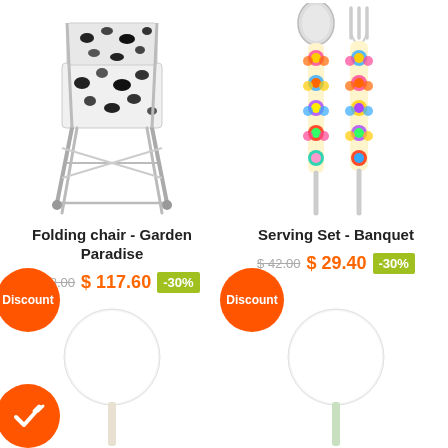[Figure (photo): Folding chair with black and white floral/abstract pattern fabric on chrome frame]
Folding chair - Garden Paradise
$ 168.00  $ 117.60  -30%
[Figure (photo): Orange discount circle badge with text 'Discount']
[Figure (photo): White round lamp on a stem/stick]
[Figure (photo): Orange circle badge with checkmark]
[Figure (photo): Serving set - two utensils (spoon and fork) with colorful floral patterned handles]
Serving Set - Banquet
$ 42.00  $ 29.40  -30%
[Figure (photo): Orange discount circle badge with text 'Discount']
[Figure (photo): White round lamp on a light green stem/stick]